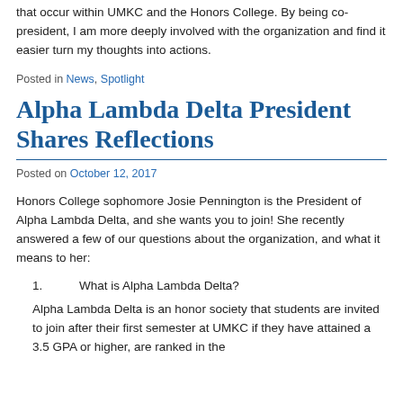that occur within UMKC and the Honors College. By being co-president, I am more deeply involved with the organization and find it easier turn my thoughts into actions.
Posted in News, Spotlight
Alpha Lambda Delta President Shares Reflections
Posted on October 12, 2017
Honors College sophomore Josie Pennington is the President of Alpha Lambda Delta, and she wants you to join! She recently answered a few of our questions about the organization, and what it means to her:
1.   What is Alpha Lambda Delta?
Alpha Lambda Delta is an honor society that students are invited to join after their first semester at UMKC if they have attained a 3.5 GPA or higher, are ranked in the